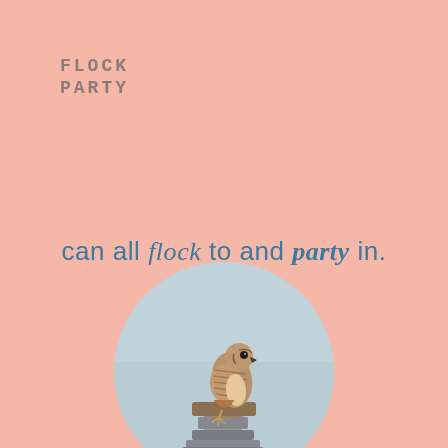FLOCK
PARTY
can all flock to and party in.
[Figure (photo): A kestrel or falcon bird perched on top of a metal post or utility fixture, viewed against a light blue-grey sky background. The image is cropped in a circle.]